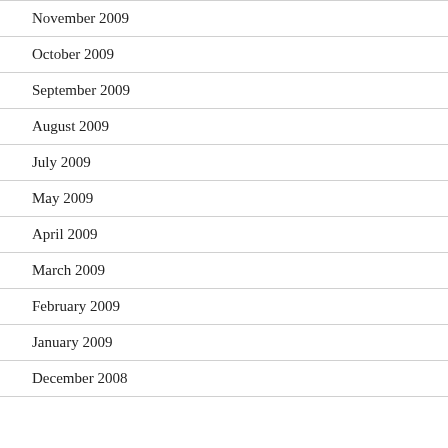November 2009
October 2009
September 2009
August 2009
July 2009
May 2009
April 2009
March 2009
February 2009
January 2009
December 2008